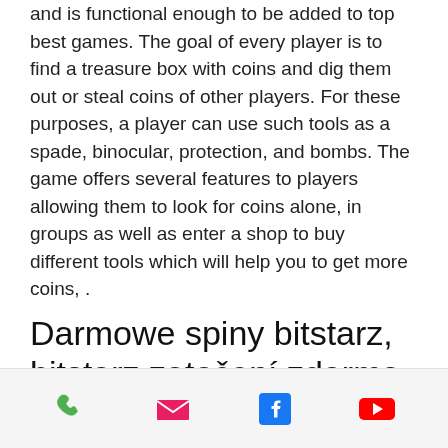and is functional enough to be added to top best games. The goal of every player is to find a treasure box with coins and dig them out or steal coins of other players. For these purposes, a player can use such tools as a spade, binocular, protection, and bombs. The game offers several features to players allowing them to look for coins alone, in groups as well as enter a shop to buy different tools which will help you to get more coins, .
Darmowe spiny bitstarz, bitstarz zatočení zdarma
MMORPG stands for 'massively multiplayer online role-playing game', актуальное зеркало bitstarz. The gameplay typically sees lots of players participate in the same world, at the same time. Cryptocurrencies
Phone | Email | Facebook | YouTube